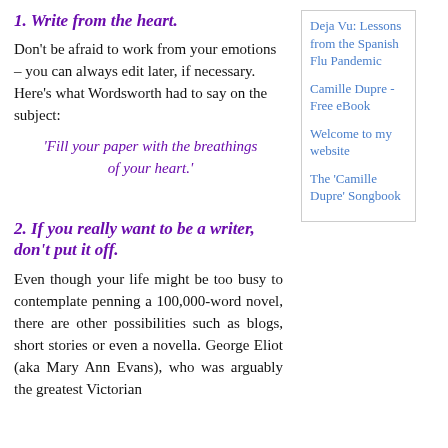1. Write from the heart.
Don't be afraid to work from your emotions – you can always edit later, if necessary. Here's what Wordsworth had to say on the subject:
'Fill your paper with the breathings of your heart.'
2. If you really want to be a writer, don't put it off.
Even though your life might be too busy to contemplate penning a 100,000-word novel, there are other possibilities such as blogs, short stories or even a novella. George Eliot (aka Mary Ann Evans), who was arguably the greatest Victorian
Deja Vu: Lessons from the Spanish Flu Pandemic
Camille Dupre - Free eBook
Welcome to my website
The 'Camille Dupre' Songbook